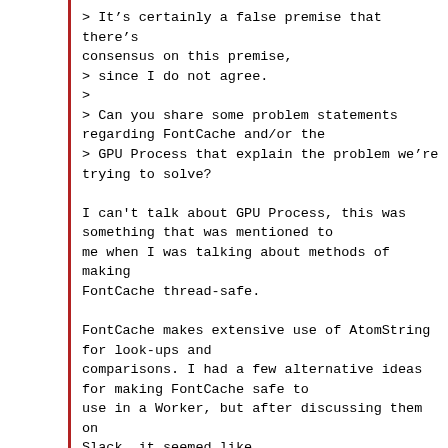> It's certainly a false premise that there's consensus on this premise,
> since I do not agree.
>
> Can you share some problem statements regarding FontCache and/or the
> GPU Process that explain the problem we're trying to solve?

I can't talk about GPU Process, this was something that was mentioned to
me when I was talking about methods of making FontCache thread-safe.

FontCache makes extensive use of AtomString for look-ups and
comparisons. I had a few alternative ideas for making FontCache safe to
use in a Worker, but after discussing them on Slack, it seemed like
making FontCache safe for concurrent access and making String
thread-safe were both desirable for future